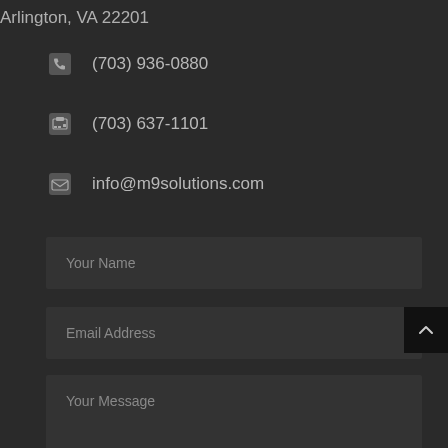Arlington, VA 22201
(703) 936-0880
(703) 637-1101
info@m9solutions.com
Your Name
Email Address
Your Message